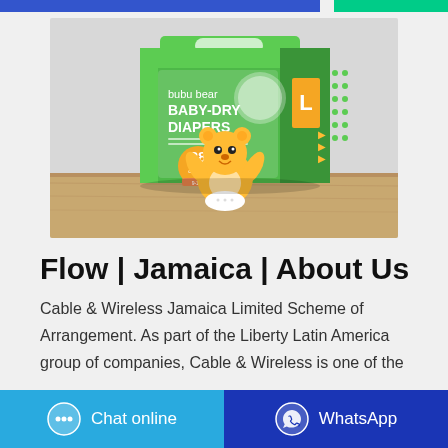[Figure (photo): Product photo of bubu bear Baby-Dry Diapers package, green packaging with cartoon bear character, showing 28 diapers, size L, placed on a wooden surface with light fabric background]
Flow | Jamaica | About Us
Cable & Wireless Jamaica Limited Scheme of Arrangement. As part of the Liberty Latin America group of companies, Cable & Wireless is one of the
Chat online   WhatsApp